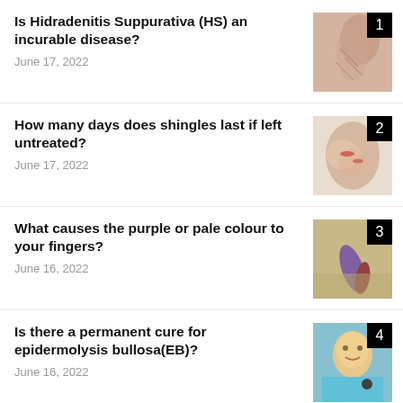Is Hidradenitis Suppurativa (HS) an incurable disease?
June 17, 2022
How many days does shingles last if left untreated?
June 17, 2022
What causes the purple or pale colour to your fingers?
June 16, 2022
Is there a permanent cure for epidermolysis bullosa(EB)?
June 16, 2022
How do you Know whether you have scabies or not?
June 15, 2022